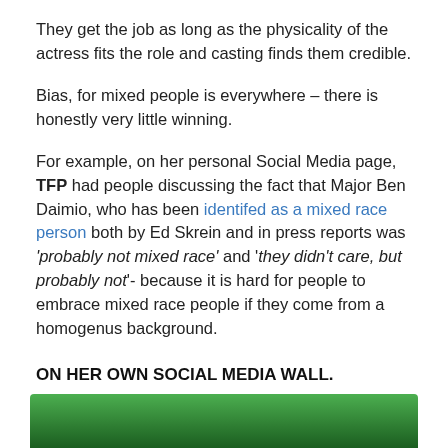They get the job as long as the physicality of the actress fits the role and casting finds them credible.
Bias, for mixed people is everywhere – there is honestly very little winning.
For example, on her personal Social Media page, TFP had people discussing the fact that Major Ben Daimio, who has been identifed as a mixed race person both by Ed Skrein and in press reports was 'probably not mixed race' and 'they didn't care, but probably not'- because it is hard for people to embrace mixed race people if they come from a homogenus background.
ON HER OWN SOCIAL MEDIA WALL.
[Figure (photo): Green gradient image strip at the bottom of the page]